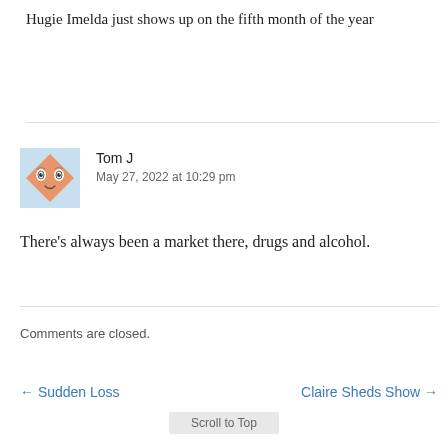Hugie Imelda just shows up on the fifth month of the year
[Figure (illustration): Avatar icon of a cartoon diamond-shaped face with wide eyes and a small mouth, with orange/peach coloring on a light blue background]
Tom J
May 27, 2022 at 10:29 pm
There’s always been a market there, drugs and alcohol.
Comments are closed.
← Sudden Loss
Claire Sheds Show →
Scroll to Top